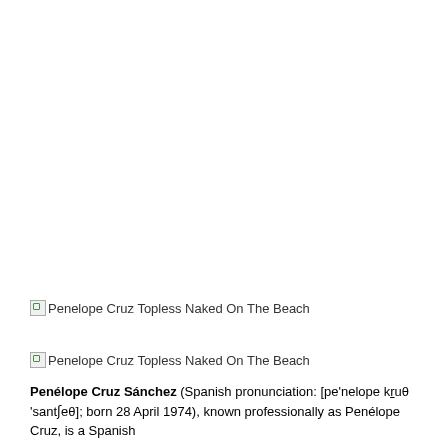[Figure (photo): Broken image placeholder for 'Penelope Cruz Topless Naked On The Beach']
[Figure (photo): Broken image placeholder for 'Penelope Cruz Topless Naked On The Beach']
Penélope Cruz Sánchez (Spanish pronunciation: [pe'nelope kɾuθ 'santʃeθ]; born 28 April 1974), known professionally as Penélope Cruz, is a Spanish